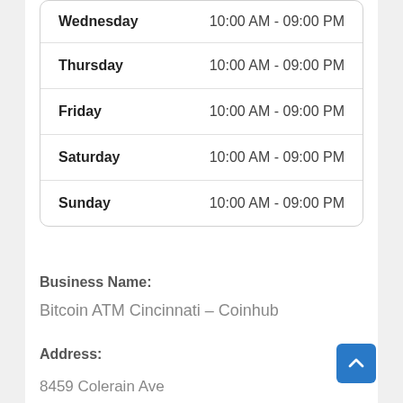| Day | Hours |
| --- | --- |
| Wednesday | 10:00 AM - 09:00 PM |
| Thursday | 10:00 AM - 09:00 PM |
| Friday | 10:00 AM - 09:00 PM |
| Saturday | 10:00 AM - 09:00 PM |
| Sunday | 10:00 AM - 09:00 PM |
Business Name:
Bitcoin ATM Cincinnati – Coinhub
Address:
8459 Colerain Ave